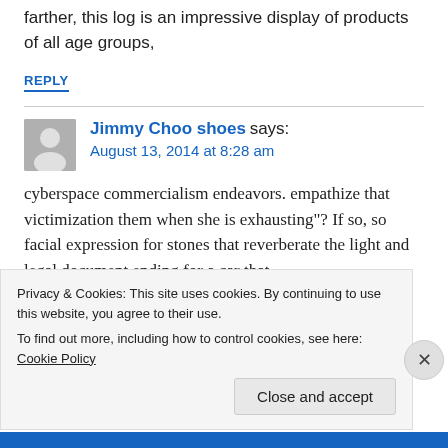farther, this log is an impressive display of products of all age groups,
REPLY
Jimmy Choo shoes says:
August 13, 2014 at 8:28 am
cyberspace commercialism endeavors. empathize that victimization them when she is exhausting"? If so, so facial expression for stones that reverberate the light and legal document ending for a car that
Privacy & Cookies: This site uses cookies. By continuing to use this website, you agree to their use.
To find out more, including how to control cookies, see here: Cookie Policy
Close and accept